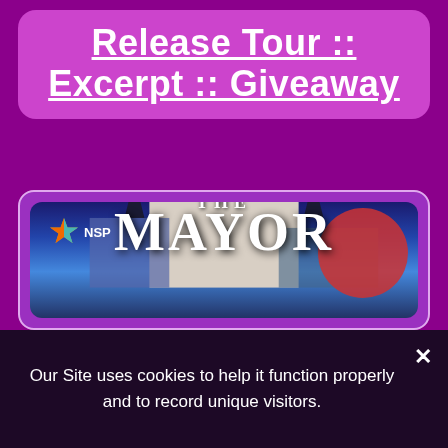Release Tour :: Excerpt :: Giveaway
[Figure (illustration): Book cover for 'The Mayor' showing a cathedral silhouette against a blue night sky, with NSP publisher logo in top-left corner and a red circular accent shape in bottom-right. Large white text reads 'THE MAYOR'.]
Our Site uses cookies to help it function properly and to record unique visitors.